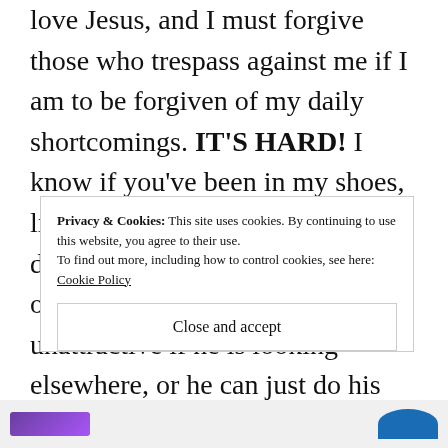love Jesus, and I must forgive those who trespass against me if I am to be forgiven of my daily shortcomings. IT'S HARD! I know if you've been in my shoes, lies creep in like:he doesn't deserve my body if he looks at other women, or I must be fat and unattractive if he is looking elsewhere, or he can just do his own thing with the porn and I'll live a
Privacy & Cookies: This site uses cookies. By continuing to use this website, you agree to their use.
To find out more, including how to control cookies, see here:
Cookie Policy
Close and accept